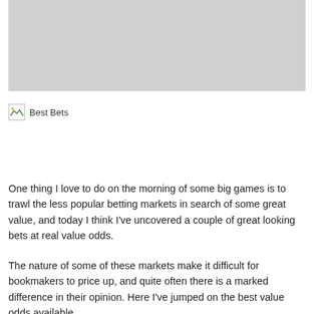[Figure (photo): Large grey placeholder image at the top of the page]
[Figure (illustration): Small broken/placeholder image icon labeled 'Best Bets']
One thing I love to do on the morning of some big games is to trawl the less popular betting markets in search of some great value, and today I think I've uncovered a couple of great looking bets at real value odds.
The nature of some of these markets make it difficult for bookmakers to price up, and quite often there is a marked difference in their opinion. Here I've jumped on the best value odds available...